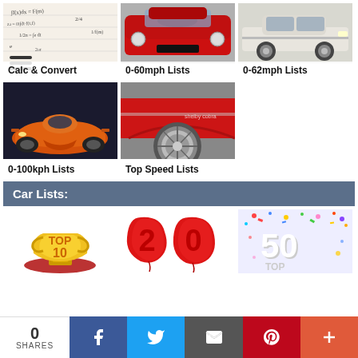[Figure (photo): Math equations handwritten on paper]
Calc & Convert
[Figure (photo): Red Dodge Challenger muscle car front view]
0-60mph Lists
[Figure (photo): White classic compact car side view]
0-62mph Lists
[Figure (photo): Orange McLaren supercar]
0-100kph Lists
[Figure (photo): Red classic muscle car wheel and body detail]
Top Speed Lists
Car Lists:
[Figure (photo): TOP 10 gold trophy text graphic]
[Figure (photo): 20 red balloon numbers]
[Figure (photo): 50 TOP confetti celebration graphic]
0
SHARES